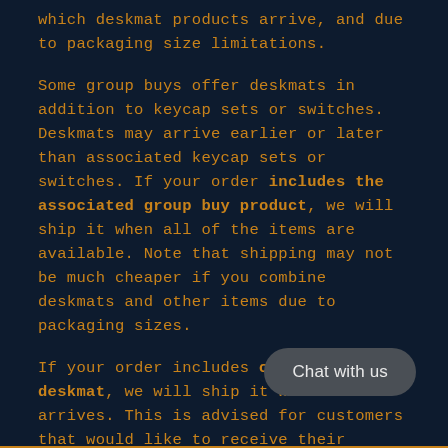which deskmat products arrive, and due to packaging size limitations.
Some group buys offer deskmats in addition to keycap sets or switches. Deskmats may arrive earlier or later than associated keycap sets or switches. If your order includes the associated group buy product, we will ship it when all of the items are available. Note that shipping may not be much cheaper if you combine deskmats and other items due to packaging sizes.
If your order includes only the deskmat, we will ship it when it arrives. This is advised for customers that would like to receive their deskmats earlier.
[Figure (other): Chat with us button (rounded rectangle UI element)]